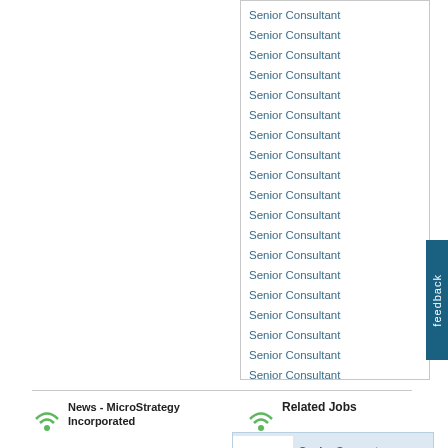Senior Consultant (repeated 19 times)
News - MicroStrategy Incorporated
Related Jobs
Senior Support Consultant